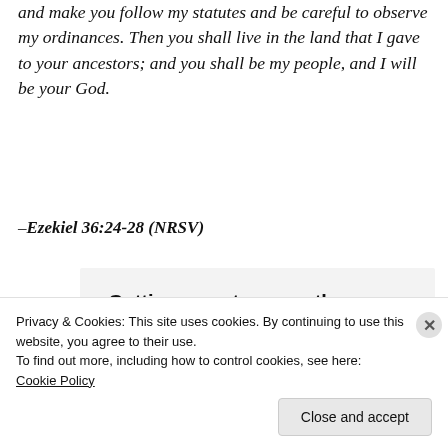and make you follow my statutes and be careful to observe my ordinances. Then you shall live in the land that I gave to your ancestors; and you shall be my people, and I will be your God.
–Ezekiel 36:24-28 (NRSV)
[Figure (other): Advertisement box with bold text 'Getting your team on the same page is easy. And free.' with avatar profile photos below.]
Privacy & Cookies: This site uses cookies. By continuing to use this website, you agree to their use.
To find out more, including how to control cookies, see here: Cookie Policy